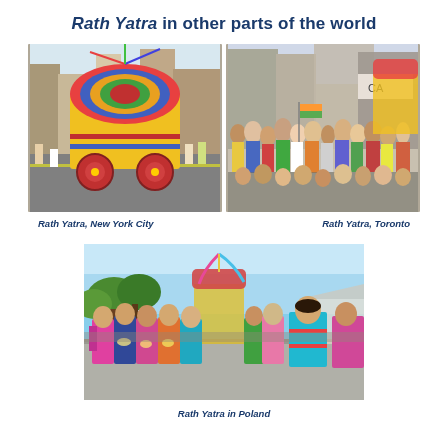Rath Yatra in other parts of the world
[Figure (photo): Side-by-side photos: left shows a colorful decorated chariot (rath) on a New York City street; right shows a large crowd of people marching in Toronto with Indian flags and a chariot visible in background]
Rath Yatra, New York City
Rath Yatra, Toronto
[Figure (photo): Women in colorful traditional Indian saris (pink, teal, orange, green) walking in a Rath Yatra procession in Poland, outdoors on a sunny day]
Rath Yatra in Poland